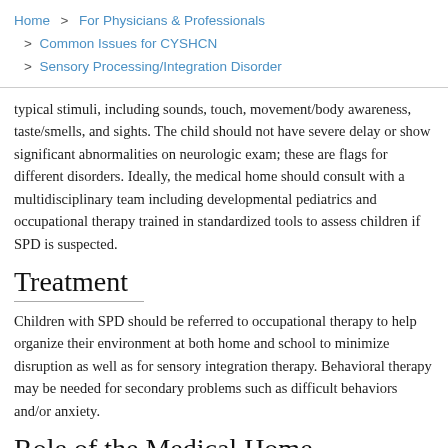Home > For Physicians & Professionals > Common Issues for CYSHCN > Sensory Processing/Integration Disorder
typical stimuli, including sounds, touch, movement/body awareness, taste/smells, and sights. The child should not have severe delay or show significant abnormalities on neurologic exam; these are flags for different disorders. Ideally, the medical home should consult with a multidisciplinary team including developmental pediatrics and occupational therapy trained in standardized tools to assess children if SPD is suspected.
Treatment
Children with SPD should be referred to occupational therapy to help organize their environment at both home and school to minimize disruption as well as for sensory integration therapy. Behavioral therapy may be needed for secondary problems such as difficult behaviors and/or anxiety.
Role of the Medical Home